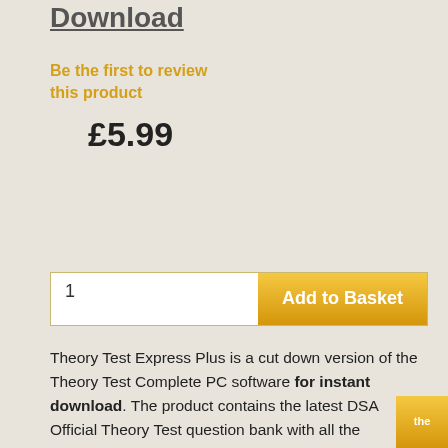Download
Be the first to review this product
£5.99
1  Add to Basket
Theory Test Express Plus is a cut down version of the Theory Test Complete PC software for instant download. The product contains the latest DSA Official Theory Test question bank with all the questions and answers for both car drivers and motorcycle riders. Basically the product excludes the Hazard Perception section and Learn on the move. However, unlike the smaller Theory Test Express download product this product